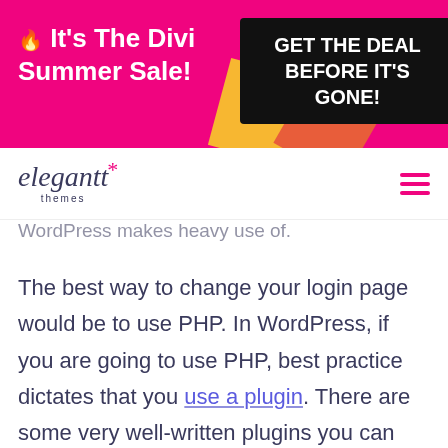[Figure (screenshot): Divi Summer Sale promotional banner with pink background, yellow and orange decorative shapes, white bold text 'It's The Divi Summer Sale!' on left and black box with white bold text 'GET THE DEAL BEFORE IT'S GONE!' on right]
elegant themes [logo with asterisk and hamburger menu]
WordPress makes heavy use of.
The best way to change your login page would be to use PHP. In WordPress, if you are going to use PHP, best practice dictates that you use a plugin. There are some very well-written plugins you can get for free, or you can write your own.